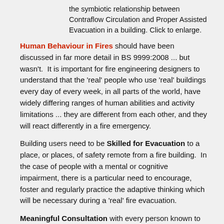the symbiotic relationship between Contraflow Circulation and Proper Assisted Evacuation in a building. Click to enlarge.
Human Behaviour in Fires should have been discussed in far more detail in BS 9999:2008 ... but wasn't. It is important for fire engineering designers to understand that the 'real' people who use 'real' buildings every day of every week, in all parts of the world, have widely differing ranges of human abilities and activity limitations ... they are different from each other, and they will react differently in a fire emergency.
Building users need to be Skilled for Evacuation to a place, or places, of safety remote from a fire building. In the case of people with a mental or cognitive impairment, there is a particular need to encourage, foster and regularly practice the adaptive thinking which will be necessary during a 'real' fire evacuation.
Meaningful Consultation with every person known to occupy or use a building, for the purposes of receiving